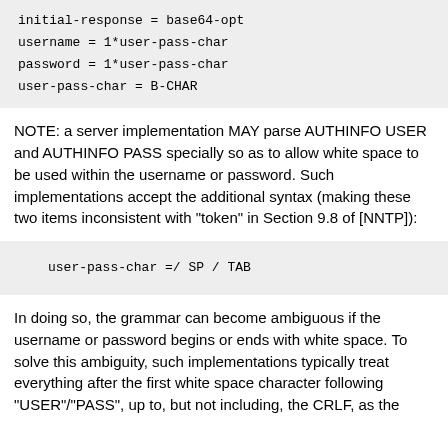NOTE: a server implementation MAY parse AUTHINFO USER and AUTHINFO PASS specially so as to allow white space to be used within the username or password. Such implementations accept the additional syntax (making these two items inconsistent with "token" in Section 9.8 of [NNTP]):
In doing so, the grammar can become ambiguous if the username or password begins or ends with white space. To solve this ambiguity, such implementations typically treat everything after the first white space character following "USER"/"PASS", up to, but not including, the CRLF, as the